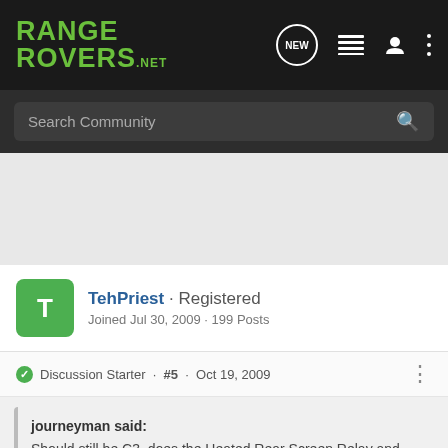RANGE ROVERS .NET
Search Community
TehPriest · Registered
Joined Jul 30, 2009 · 199 Posts
Discussion Starter · #5 · Oct 19, 2009
journeyman said:
Should still be C3, does the Heated Rear Screen Relay and Mirror Heaters.
According to the handbook that is an engine fuse "Perol.